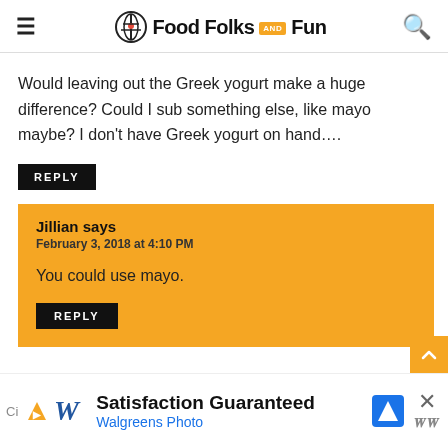Food Folks and Fun
Would leaving out the Greek yogurt make a huge difference? Could I sub something else, like mayo maybe? I don't have Greek yogurt on hand….
REPLY
Jillian says
February 3, 2018 at 4:10 PM

You could use mayo.

REPLY
[Figure (screenshot): Walgreens Photo advertisement banner: Satisfaction Guaranteed, Walgreens Photo]